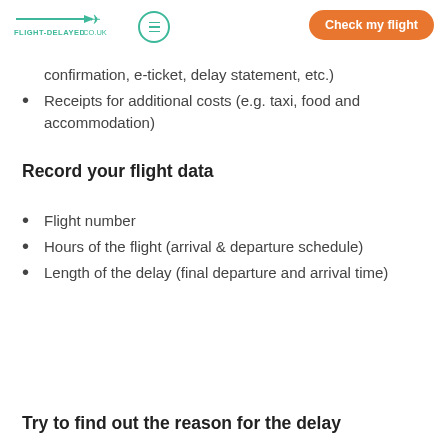FLIGHT-DELAYED.CO.UK | Check my flight
confirmation, e-ticket, delay statement, etc.)
Receipts for additional costs (e.g. taxi, food and accommodation)
Record your flight data
Flight number
Hours of the flight (arrival & departure schedule)
Length of the delay (final departure and arrival time)
Try to find out the reason for the delay